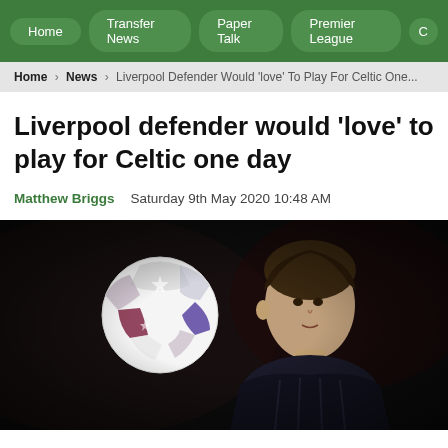Home | Transfer News | Paper Talk | Premier League
Home > News > Liverpool Defender Would 'love' To Play For Celtic One...
Liverpool defender would 'love' to play for Celtic one day
Matthew Briggs   Saturday 9th May 2020 10:48 AM
[Figure (photo): A Liverpool footballer looking at a UEFA Champions League ball in a dark stadium setting]